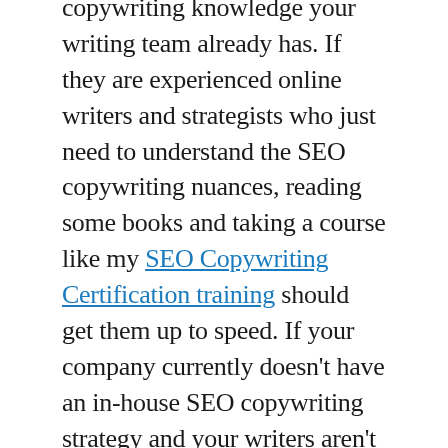copywriting knowledge your writing team already has. If they are experienced online writers and strategists who just need to understand the SEO copywriting nuances, reading some books and taking a course like my SEO Copywriting Certification training should get them up to speed. If your company currently doesn’t have an in-house SEO copywriting strategy and your writers aren’t experienced online writers, a customized training that discusses copywriting theory as well as SEO copywriting is probably your best bet.
Whatever your company chooses, remember that it’s not fair to push someone into SEO copywriting who has no experience and no